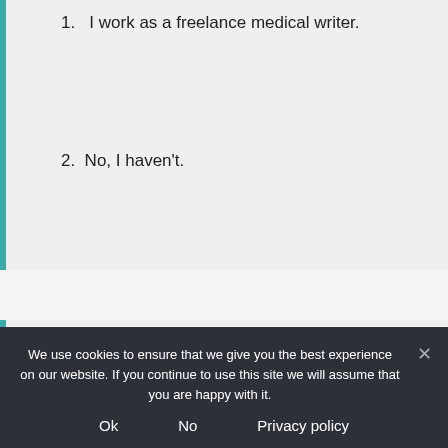1.   I work as a freelance medical writer.
2.  No, I haven't.
Jill A.  Freelance medical writer since 1995
1.   I have worked as a freelance
We use cookies to ensure that we give you the best experience on our website. If you continue to use this site we will assume that you are happy with it.
Ok   No   Privacy policy